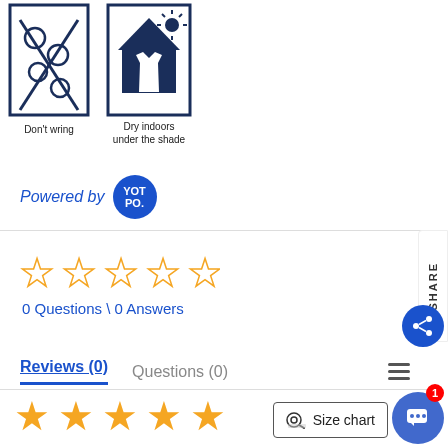[Figure (illustration): Two care instruction icons: 'Don't wring' (crossed-out wringing symbol) and 'Dry indoors under the shade' (house with sun and shirt icon), dark navy blue on white background]
Powered by YOT PO.
[Figure (illustration): Five empty star rating icons in gold/yellow outline]
0 Questions \ 0 Answers
Reviews (0)   Questions (0)
[Figure (illustration): Five filled gold/yellow star rating icons at the bottom of the page]
Size chart